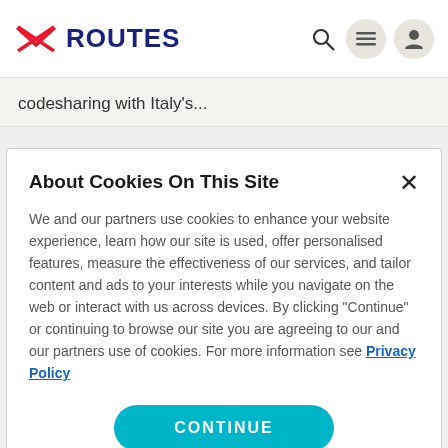ROUTES
codesharing with Italy's...
About Cookies On This Site
We and our partners use cookies to enhance your website experience, learn how our site is used, offer personalised features, measure the effectiveness of our services, and tailor content and ads to your interests while you navigate on the web or interact with us across devices. By clicking "Continue" or continuing to browse our site you are agreeing to our and our partners use of cookies. For more information see Privacy Policy
CONTINUE